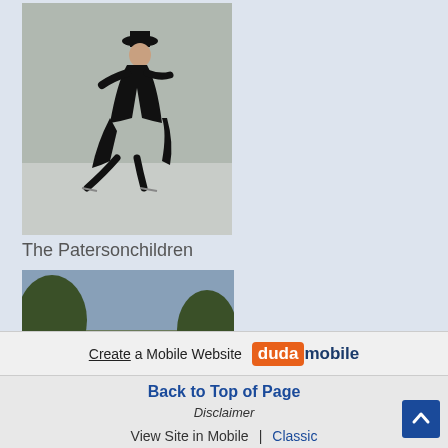[Figure (illustration): Painting of a man ice skating, wearing a black coat and top hat, leaning forward in motion]
The Patersonchildren
[Figure (illustration): Painting of three children (The Paterson children), one girl in white dress and two boys, one in red coat]
Back to Top of Page
Disclaimer
Create a Mobile Website  duda mobile
View Site in Mobile  |  Classic